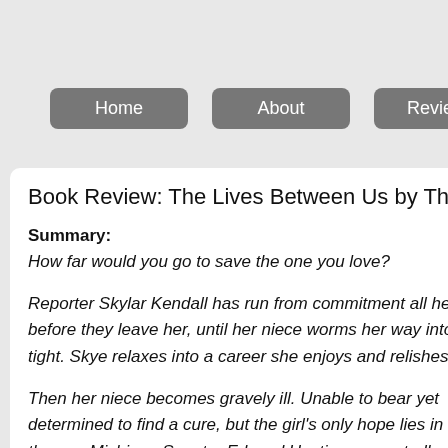Home | About | Review Policy | Review I...
Book Review: The Lives Between Us by Theresa
Summary:
How far would you go to save the one you love?
Reporter Skylar Kendall has run from commitment all her life before they leave her, until her niece worms her way into Sky tight. Skye relaxes into a career she enjoys and relishes being
Then her niece becomes gravely ill. Unable to bear yet determined to find a cure, but the girl's only hope lies in therapy Michigan Senator Edward Hastings repeatedly oppos find alternative treatment in time, she vows to end the senator's